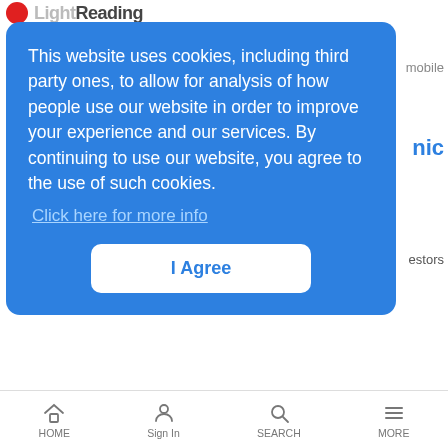Light Reading
This website uses cookies, including third party ones, to allow for analysis of how people use our website in order to improve your experience and our services. By continuing to use our website, you agree to the use of such cookies. Click here for more info
I Agree
Company claims its software, when tightly integrated with the modem or gateway, provides a fresh way to support app-targeted, low-latency capabilities on DOCSIS networks while still being compatible with the CableLabs specs.
Microsoft's continued cloud growth keeps a target on telcos
HOME  Sign In  SEARCH  MORE